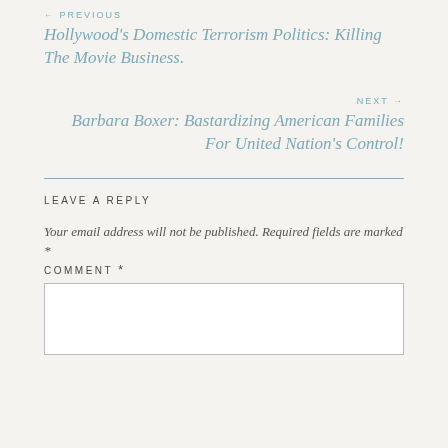← PREVIOUS
Hollywood's Domestic Terrorism Politics: Killing The Movie Business.
NEXT →
Barbara Boxer: Bastardizing American Families For United Nation's Control!
LEAVE A REPLY
Your email address will not be published. Required fields are marked *
COMMENT *